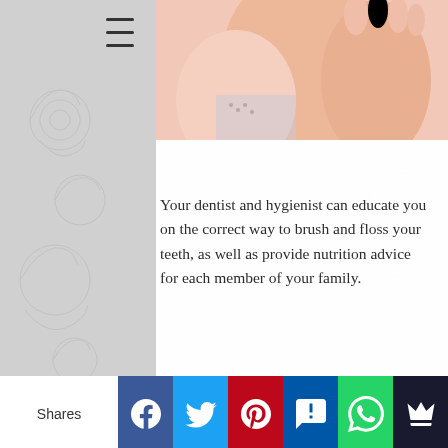[Figure (photo): Top portion of a photo showing children/family in warm tones, partially cropped at the top of the page]
Your dentist and hygienist can educate you on the correct way to brush and floss your teeth, as well as provide nutrition advice for each member of your family.
Stock Photos from Shutterstock
[Figure (other): Document/article icon in gray]
Shares | Facebook | Twitter | Pinterest | SMS | WhatsApp | Crown